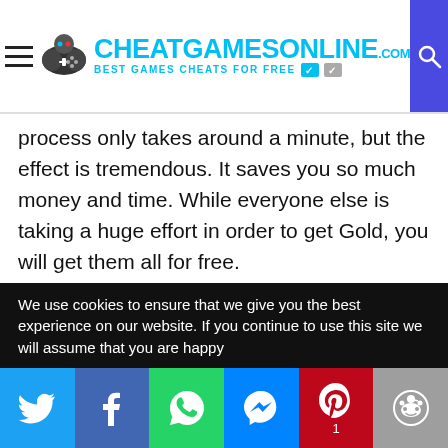CHEATGAMESONLINE.COM — BEST GAMES CHEATS FOR FREE
process only takes around a minute, but the effect is tremendous. It saves you so much money and time. While everyone else is taking a huge effort in order to get Gold, you will get them all for free.
We strongly advise against spending your hard-earned money on Gold. Why pay more when there are hacks and cheats to get you all the Gold you want (for free)!
Want more Gold on Game of Thrones Conquest? But you don't want to spend your real money on the game all the time? We'll show you how to get all the in-game currencies for free with our mod.
We use cookies to ensure that we give you the best experience on our website. If you continue to use this site we will assume that you are happy